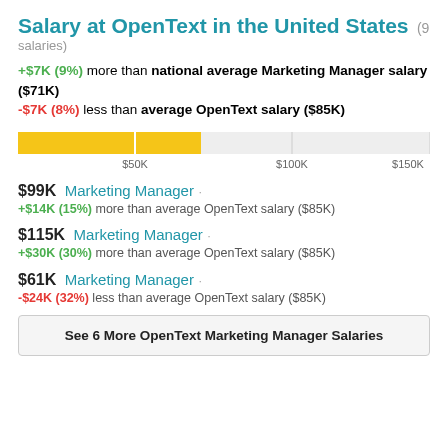Salary at OpenText in the United States (9 salaries)
+$7K (9%) more than national average Marketing Manager salary ($71K)
-$7K (8%) less than average OpenText salary ($85K)
[Figure (bar-chart): Horizontal bar chart showing salary range with gold bar up to approximately $78K out of $150K scale]
$99K Marketing Manager · +$14K (15%) more than average OpenText salary ($85K)
$115K Marketing Manager · +$30K (30%) more than average OpenText salary ($85K)
$61K Marketing Manager · -$24K (32%) less than average OpenText salary ($85K)
See 6 More OpenText Marketing Manager Salaries